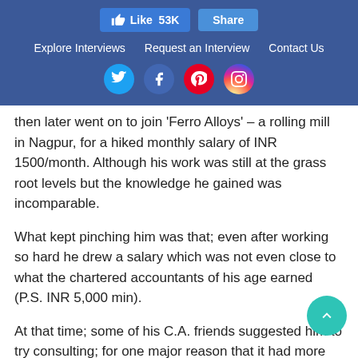[Figure (screenshot): Website header with Facebook Like (53K) and Share buttons, navigation links (Explore Interviews, Request an Interview, Contact Us), and social media icons (Twitter, Facebook, Pinterest, Instagram) on a blue background.]
then later went on to join ‘Ferro Alloys’ – a rolling mill in Nagpur, for a hiked monthly salary of INR 1500/month. Although his work was still at the grass root levels but the knowledge he gained was incomparable.
What kept pinching him was that; even after working so hard he drew a salary which was not even close to what the chartered accountants of his age earned (P.S. INR 5,000 min).
At that time; some of his C.A. friends suggested him to try consulting; for one major reason that it had more money than what he currently earned, working at the shop floor level.